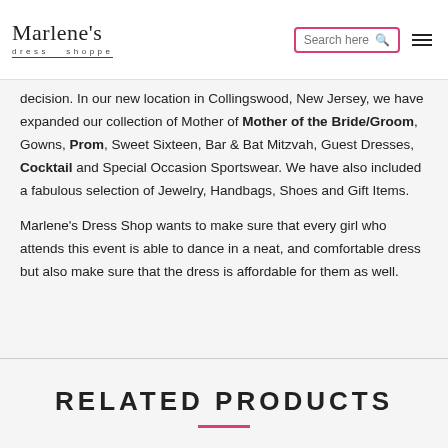Marlene's dress shoppe | Search here | menu
decision. In our new location in Collingswood, New Jersey, we have expanded our collection of Mother of Mother of the Bride/Groom, Gowns, Prom, Sweet Sixteen, Bar & Bat Mitzvah, Guest Dresses, Cocktail and Special Occasion Sportswear. We have also included a fabulous selection of Jewelry, Handbags, Shoes and Gift Items.
Marlene's Dress Shop wants to make sure that every girl who attends this event is able to dance in a neat, and comfortable dress but also make sure that the dress is affordable for them as well.
RELATED PRODUCTS